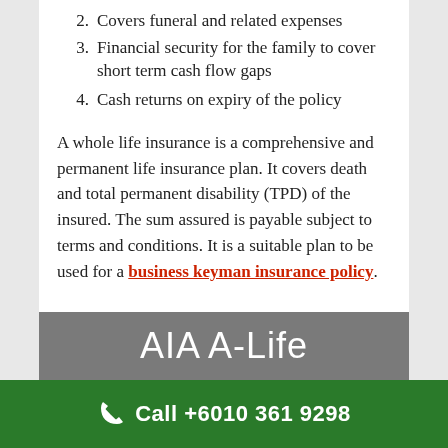2. Covers funeral and related expenses
3. Financial security for the family to cover short term cash flow gaps
4. Cash returns on expiry of the policy
A whole life insurance is a comprehensive and permanent life insurance plan. It covers death and total permanent disability (TPD) of the insured. The sum assured is payable subject to terms and conditions. It is a suitable plan to be used for a business keyman insurance policy.
AIA A-Life
Call +6010 361 9298